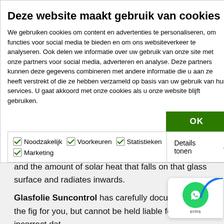Deze website maakt gebruik van cookies
We gebruiken cookies om content en advertenties te personaliseren, om functies voor social media te bieden en om ons websiteverkeer te analyseren. Ook delen we informatie over uw gebruik van onze site met onze partners voor social media, adverteren en analyse. Deze partners kunnen deze gegevens combineren met andere informatie die u aan ze heeft verstrekt of die ze hebben verzameld op basis van uw gebruik van hun services. U gaat akkoord met onze cookies als u onze website blijft gebruiken.
OK
Noodzakelijk  Voorkeuren  Statistieken  Marketing  Details tonen
The solar heat gain coefficient is the ratio of the amount of solar heat that a glass surface passes on and the amount of solar heat that falls on that glass surface and radiates inwards.
Glasfolie Suncontrol has carefully documented the figures for you, but cannot be held liable for any incorrect data
Applying